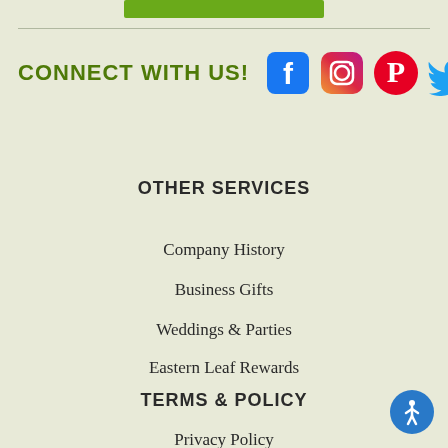[Figure (other): Green button bar at top of page]
CONNECT WITH US!
[Figure (other): Social media icons: Facebook, Instagram, Pinterest, Twitter]
OTHER SERVICES
Company History
Business Gifts
Weddings & Parties
Eastern Leaf Rewards
TERMS & POLICY
Privacy Policy